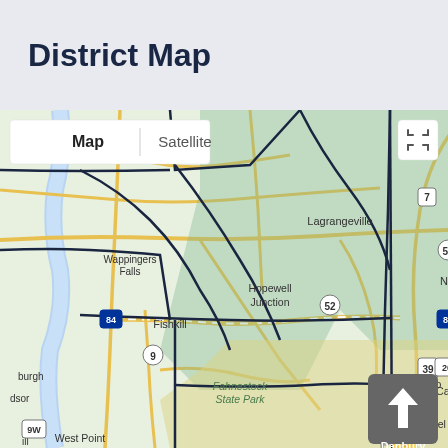District Map
[Figure (map): A district map showing parts of Dutchess County and Putnam County, New York, including locations such as Dover Plains, Wingdale, Lagrangeville, Hopewell Junction, Pawling, Wappingers Falls, Fishkill, Patterson, Fahnestock State Park, Lake Carmel, Carmel Hamlet, Brewster, West Point, New Fairfield, and Danbury. The map shows district boundaries drawn with dark navy lines over a green/yellow terrain base map. Map interface includes Map/Satellite toggle buttons, a fullscreen icon, and a navigation arrow pointing up labeled Danbury.]